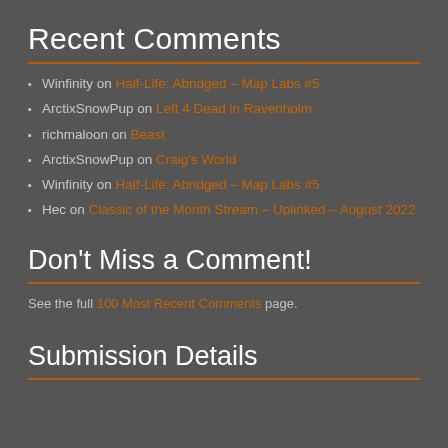Recent Comments
Winfinity on Half-Life: Abridged – Map Labs #5
ArctixSnowPup on Left 4 Dead in Ravenholm
richmaloon on Beast
ArctixSnowPup on Craig's World
Winfinity on Half-Life: Abridged – Map Labs #5
Hec on Classic of the Month Stream – Uplinked – August 2022
Don't Miss a Comment!
See the full 100 Most Recent Comments page.
Submission Details